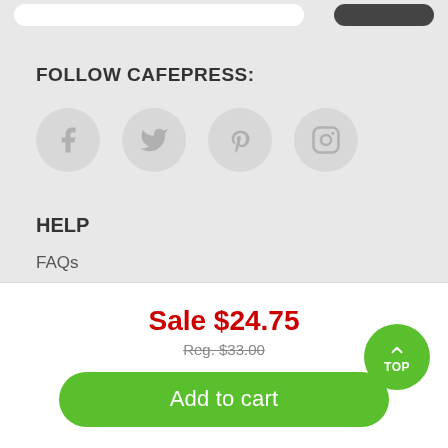FOLLOW CAFEPRESS:
[Figure (illustration): Social media icons: Facebook, Twitter, Pinterest, Instagram in light grey circles]
HELP
FAQs
Returns
Shipping
Track Order
Sale $24.75
Reg. $33.00
Add to cart